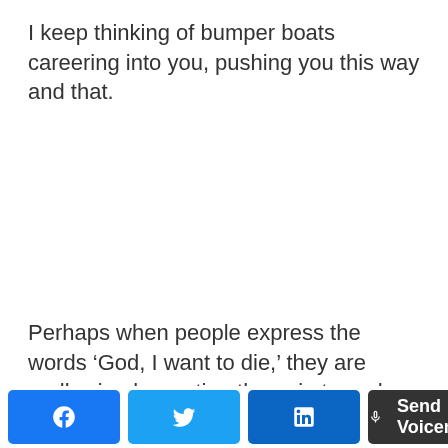I keep thinking of bumper boats careering into you, pushing you this way and that.
Perhaps when people express the words ‘God, I want to die,’ they are really simply wanting the pain to end.
[Figure (screenshot): Social sharing buttons: Facebook (blue), Twitter (blue), LinkedIn (blue), and a dark Send Voicemail button with microphone icon]